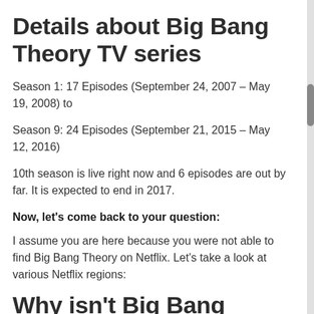Details about Big Bang Theory TV series
Season 1: 17 Episodes (September 24, 2007 – May 19, 2008) to
Season 9: 24 Episodes (September 21, 2015 – May 12, 2016)
10th season is live right now and 6 episodes are out by far. It is expected to end in 2017.
Now, let's come back to your question:
I assume you are here because you were not able to find Big Bang Theory on Netflix. Let's take a look at various Netflix regions:
Why isn't Big Bang Theory on Netflix?
CBS has made a deal with Hulu for exclusive US region